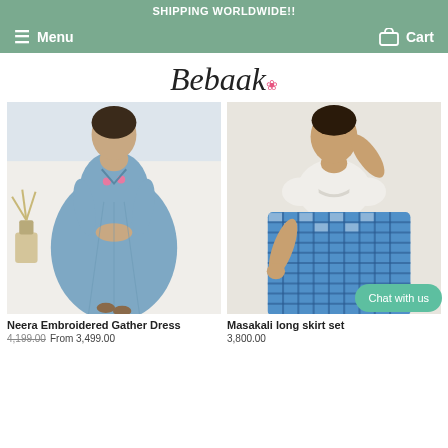SHIPPING WORLDWIDE!!
Menu   Cart
Bebaak
[Figure (photo): Woman wearing a blue embroidered gather dress, standing against a white backdrop with a dried plant in the background]
[Figure (photo): Woman wearing a white crop top and blue checkered/plaid long skirt set, posing against a light background]
Neera Embroidered Gather Dress
4,199.00 From 3,499.00
Masakali long skirt set
3,800.00
Chat with us